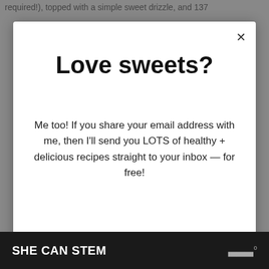required!), topped with a simple sweet drizzle, and 137
Love sweets?
Me too! If you share your email address with me, then I'll send you LOTS of healthy + delicious recipes straight to your inbox — for free!
No spam — just sweetness!
First name
Email address
SHE CAN STEM